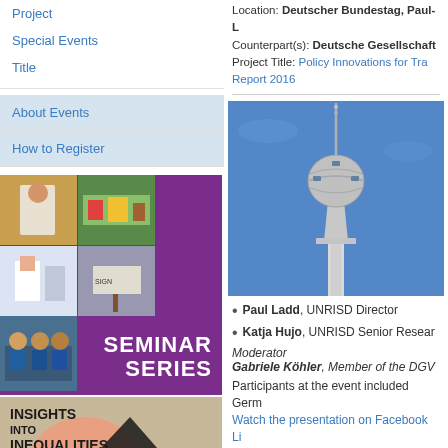Project
Special Events
Title
About Events
How to Register
Location: Deutscher Bundestag, Paul-L...
Counterpart(s): Deutsche Gesellschaft...
Project Title: Policy Innovations for Tra... Report 2016
[Figure (photo): Berlin TV Tower (Fernsehturm) against blue sky, viewed from below]
[Figure (photo): UNRISD Seminar Series promotional image with photo collage on purple background]
[Figure (illustration): Insights into Inequalities publication cover with geometric shapes on tan background]
Paul Ladd, UNRISD Director
Katja Hujo, UNRISD Senior Resear...
Moderator
Gabriele Köhler, Member of the DGV...
Participants at the event included Germ... Watch the presentation on Facebook Li...